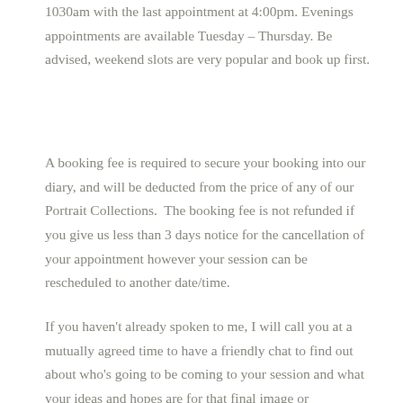1030am with the last appointment at 4:00pm. Evenings appointments are available Tuesday – Thursday. Be advised, weekend slots are very popular and book up first.
A booking fee is required to secure your booking into our diary, and will be deducted from the price of any of our Portrait Collections.  The booking fee is not refunded if you give us less than 3 days notice for the cancellation of your appointment however your session can be rescheduled to another date/time.
If you haven't already spoken to me, I will call you at a mutually agreed time to have a friendly chat to find out about who's going to be coming to your session and what your ideas and hopes are for that final image or